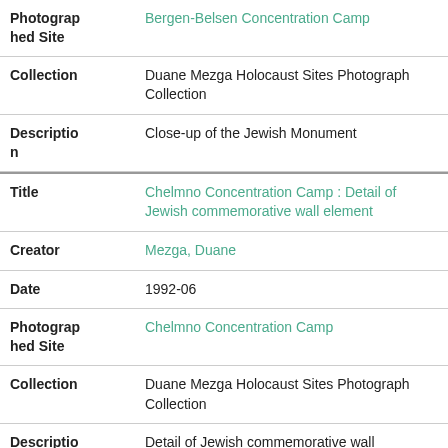| Photographed Site | Bergen-Belsen Concentration Camp |
| Collection | Duane Mezga Holocaust Sites Photograph Collection |
| Description | Close-up of the Jewish Monument |
| Title | Chelmno Concentration Camp : Detail of Jewish commemorative wall element |
| Creator | Mezga, Duane |
| Date | 1992-06 |
| Photographed Site | Chelmno Concentration Camp |
| Collection | Duane Mezga Holocaust Sites Photograph Collection |
| Description | Detail of Jewish commemorative wall |